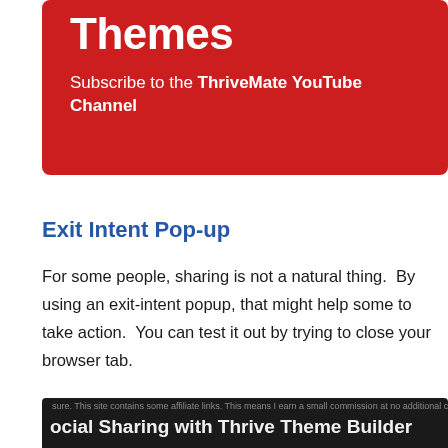Themes
Subscribe to the ThriveMate YouTube Channel
Exit Intent Pop-up
For some people, sharing is not a natural thing.  By using an exit-intent popup, that might help some to take action.  You can test it out by trying to close your browser tab.
ocial Sharing with Thrive Theme Builder